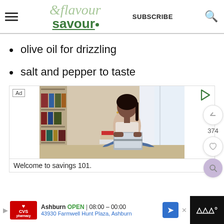& flavour savour | SUBSCRIBE
olive oil for drizzling
salt and pepper to taste
[Figure (screenshot): Advertisement image showing a woman sitting cross-legged on a stack of books, using a laptop computer, in a room with bookshelves and window. Ad label visible in top-left corner, play icon in top-right.]
Welcome to savings 101.
CVS pharmacy | Ashburn OPEN | 08:00 – 00:00 | 43930 Farmwell Hunt Plaza, Ashburn